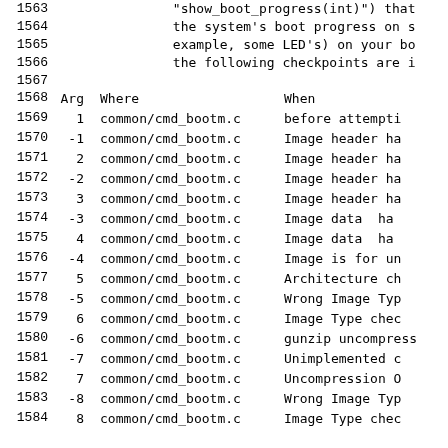| Line | Arg | Where | When |
| --- | --- | --- | --- |
| 1563 |  |  | "show_boot_progress(int)") that |
| 1564 |  |  | the system's boot progress on s |
| 1565 |  |  | example, some LED's) on your bo |
| 1566 |  |  | the following checkpoints are i |
| 1567 |  |  |  |
| 1568 | Arg | Where | When |
| 1569 | 1 | common/cmd_bootm.c | before attempti |
| 1570 | -1 | common/cmd_bootm.c | Image header ha |
| 1571 | 2 | common/cmd_bootm.c | Image header ha |
| 1572 | -2 | common/cmd_bootm.c | Image header ha |
| 1573 | 3 | common/cmd_bootm.c | Image header ha |
| 1574 | -3 | common/cmd_bootm.c | Image data  ha |
| 1575 | 4 | common/cmd_bootm.c | Image data  ha |
| 1576 | -4 | common/cmd_bootm.c | Image is for un |
| 1577 | 5 | common/cmd_bootm.c | Architecture ch |
| 1578 | -5 | common/cmd_bootm.c | Wrong Image Typ |
| 1579 | 6 | common/cmd_bootm.c | Image Type chec |
| 1580 | -6 | common/cmd_bootm.c | gunzip uncompress |
| 1581 | -7 | common/cmd_bootm.c | Unimplemented c |
| 1582 | 7 | common/cmd_bootm.c | Uncompression O |
| 1583 | -8 | common/cmd_bootm.c | Wrong Image Typ |
| 1584 | 8 | common/cmd_bootm.c | Image Type chec |